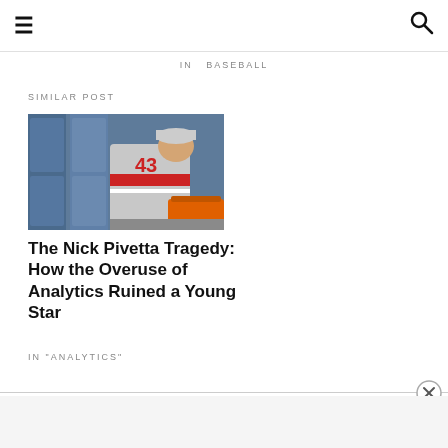≡ [hamburger menu] [search icon]
IN  BASEBALL
SIMILAR POST
[Figure (photo): Baseball player wearing jersey number 43, leaning forward, with blue lockers in the background]
The Nick Pivetta Tragedy: How the Overuse of Analytics Ruined a Young Star
IN "ANALYTICS"
Advertisements
[Figure (photo): MAC cosmetics advertisement banner showing colorful lipsticks with MAC logo and SHOP NOW button]